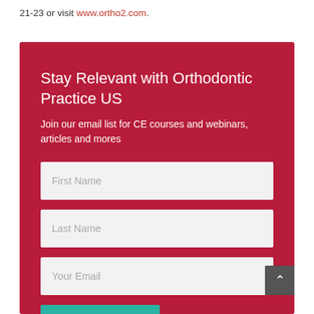21-23 or visit www.ortho2.com.
Stay Relevant with Orthodontic Practice US
Join our email list for CE courses and webinars, articles and mores
First Name
Last Name
Your Email